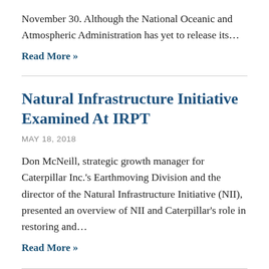November 30. Although the National Oceanic and Atmospheric Administration has yet to release its…
Read More »
Natural Infrastructure Initiative Examined At IRPT
MAY 18, 2018
Don McNeill, strategic growth manager for Caterpillar Inc.'s Earthmoving Division and the director of the Natural Infrastructure Initiative (NII), presented an overview of NII and Caterpillar's role in restoring and…
Read More »